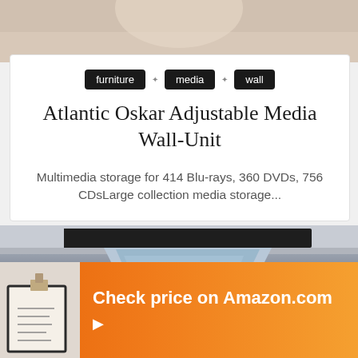[Figure (photo): Top portion of a product or lifestyle photo, cropped, showing light beige/skin tones background]
furniture
media
wall
Atlantic Oskar Adjustable Media Wall-Unit
Multimedia storage for 414 Blu-rays, 360 DVDs, 756 CDsLarge collection media storage...
[Figure (photo): Kitchen scene with a stainless steel range hood mounted under cabinet, gray stone tile backsplash, and a magnetic knife rack on the wall with kitchen tools]
Check price on Amazon.com ▶